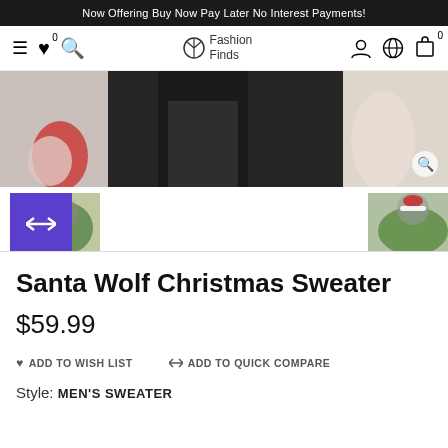Now Offering Buy Now Pay Later No Interest Payments!
[Figure (screenshot): E-commerce navigation bar with hamburger menu, heart/wishlist icon with badge 0, search icon, Fashion Finds logo, user icon, globe icon, and cart icon with badge 0]
[Figure (photo): Product photos showing a Santa Wolf Christmas Sweater — partial torso image across top and two thumbnails below, one with active purple overlay swap icon]
Santa Wolf Christmas Sweater
$59.99
♥ ADD TO WISH LIST   ⇄ ADD TO QUICK COMPARE
Style: MEN'S SWEATER